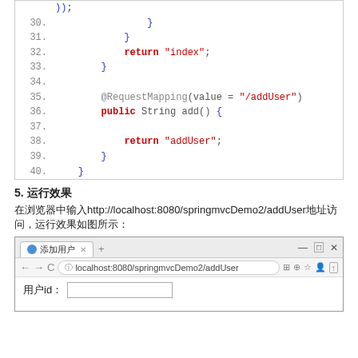[Figure (screenshot): Code block showing Java lines 30-40 with @RequestMapping annotation and return statements]
5. 运行效果
在浏览器中输入http://localhost:8080/springmvcDemo2/addUser地址访问，运行效果如图所示：
[Figure (screenshot): Browser screenshot showing localhost:8080/springmvcDemo2/addUser with a form containing '用户id:' field]